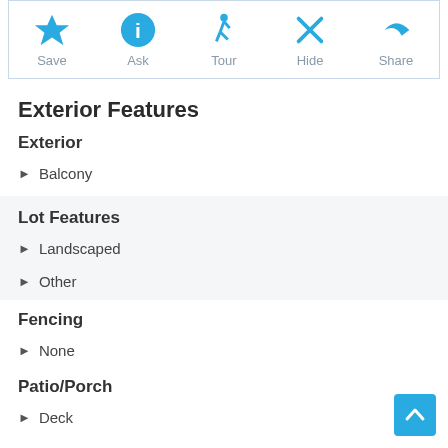[Figure (screenshot): Action bar with Save, Ask, Tour, Hide, Share icons in blue]
Exterior Features
Exterior
Balcony
Lot Features
Landscaped
Other
Fencing
None
Patio/Porch
Deck